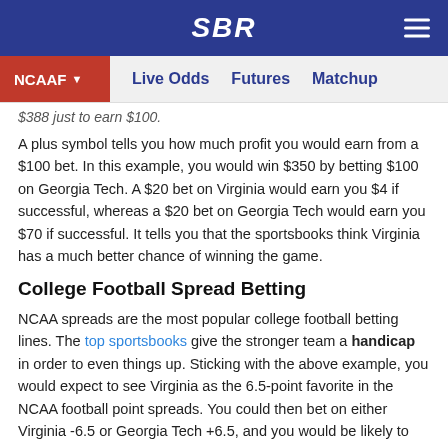SBR
NCAAF  Live Odds  Futures  Matchup
$388 just to earn $100.
A plus symbol tells you how much profit you would earn from a $100 bet. In this example, you would win $350 by betting $100 on Georgia Tech. A $20 bet on Virginia would earn you $4 if successful, whereas a $20 bet on Georgia Tech would earn you $70 if successful. It tells you that the sportsbooks think Virginia has a much better chance of winning the game.
College Football Spread Betting
NCAA spreads are the most popular college football betting lines. The top sportsbooks give the stronger team a handicap in order to even things up. Sticking with the above example, you would expect to see Virginia as the 6.5-point favorite in the NCAA football point spreads. You could then bet on either Virginia -6.5 or Georgia Tech +6.5, and you would be likely to find odds of -110 on either outcome. Some books offer reduced juice on NCAAF, so you might find -105 either way.